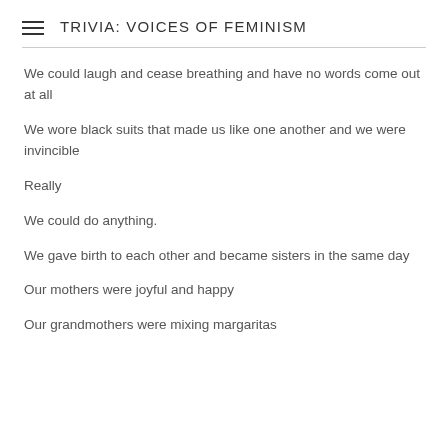TRIVIA: VOICES OF FEMINISM
We could laugh and cease breathing and have no words come out at all
We wore black suits that made us like one another and we were invincible
Really
We could do anything.
We gave birth to each other and became sisters in the same day
Our mothers were joyful and happy
Our grandmothers were mixing margaritas